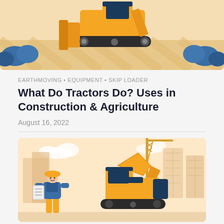[Figure (illustration): Illustrated scene of a yellow bulldozer/skip loader on sandy terrain with blue vegetation and diagonal striped ground, viewed from above-front angle]
EARTHMOVING • EQUIPMENT • SKIP LOADER
What Do Tractors Do? Uses in Construction & Agriculture
August 16, 2022
[Figure (illustration): Illustrated construction scene with a yellow excavator and a construction worker in yellow hard hat and blue overalls holding a clipboard, with city buildings and a crane in the background on a light peach background]